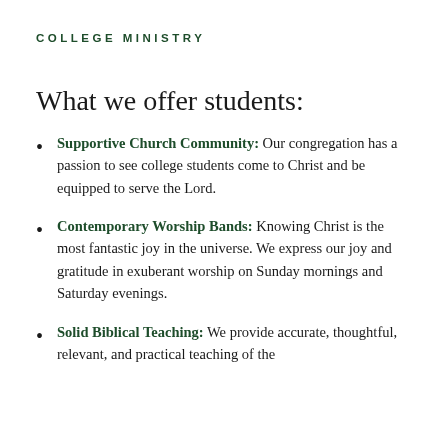COLLEGE MINISTRY
What we offer students:
Supportive Church Community: Our congregation has a passion to see college students come to Christ and be equipped to serve the Lord.
Contemporary Worship Bands: Knowing Christ is the most fantastic joy in the universe. We express our joy and gratitude in exuberant worship on Sunday mornings and Saturday evenings.
Solid Biblical Teaching: We provide accurate, thoughtful, relevant, and practical teaching of the